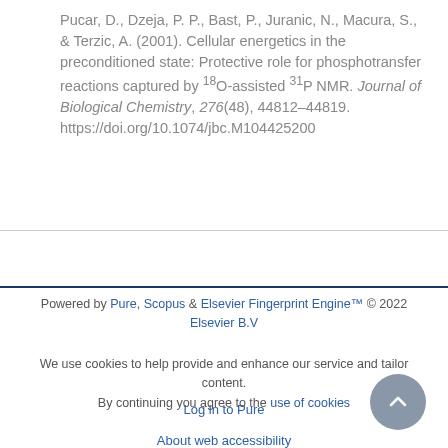Pucar, D., Dzeja, P. P., Bast, P., Juranic, N., Macura, S., & Terzic, A. (2001). Cellular energetics in the preconditioned state: Protective role for phosphotransfer reactions captured by 18O-assisted 31P NMR. Journal of Biological Chemistry, 276(48), 44812–44819. https://doi.org/10.1074/jbc.M104425200
Powered by Pure, Scopus & Elsevier Fingerprint Engine™ © 2022 Elsevier B.V

We use cookies to help provide and enhance our service and tailor content. By continuing you agree to the use of cookies

Log in to Pure

About web accessibility

Contact us